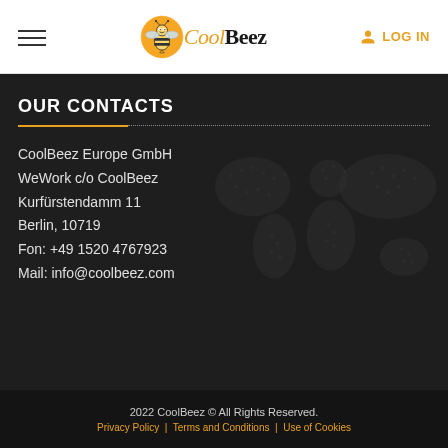CoolBeez | LOG IN
OUR CONTACTS
CoolBeez Europe GmbH
WeWork c/o CoolBeez
Kurfürstendamm 11
Berlin, 10719
Fon: +49 1520 4767923
Mail: info@coolbeez.com
2022 CoolBeez © All Rights Reserved.
Privacy Policy | Terms and Conditions | Use of Cookies